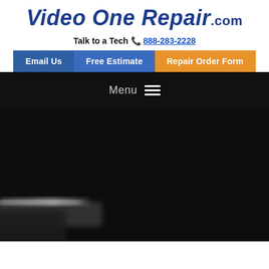Video One Repair.com
Talk to a Tech 📞 888-283-2228
Email Us | Free Estimate | Repair Order Form
Menu ☰
[Figure (photo): Dark background with a blurred camera or electronic device partially visible in the lower left corner]